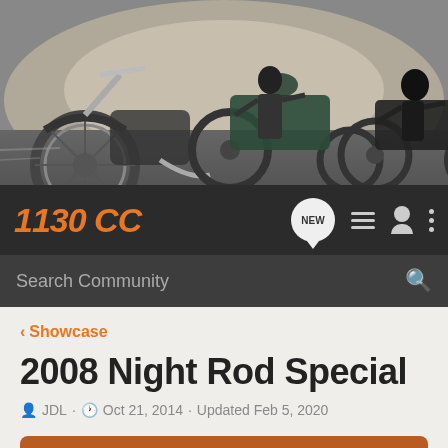[Figure (photo): Banner photo of motorcycles (cruiser/chopper style) driving on a road, multiple riders visible]
1130 CC
Search Community
< Showcase
2008 Night Rod Special
JDL · Oct 21, 2014 · Updated Feb 5, 2020
+ Follow